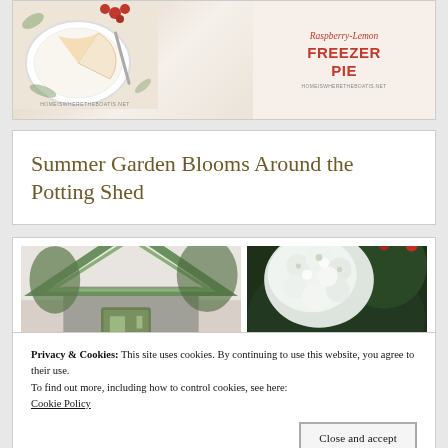[Figure (photo): Recipe card image for Raspberry-Lemon Freezer Pie. Left side shows a white plate with pie slice and raspberries on a floral background. Right side shows the recipe title text in red on cream background.]
Summer Garden Blooms Around the Potting Shed
[Figure (photo): Two garden photos side by side: left shows a green-roofed potting shed, right shows white hydrangea blooms against dark foliage.]
Privacy & Cookies: This site uses cookies. By continuing to use this website, you agree to their use.
To find out more, including how to control cookies, see here:
Cookie Policy
[Figure (photo): Bottom strip showing two garden photos partially visible.]